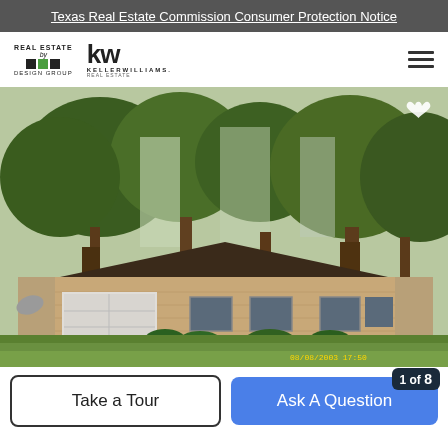Texas Real Estate Commission Consumer Protection Notice
[Figure (logo): Real Estate by Design Group / Keller Williams Real Estate logo with hamburger menu icon]
[Figure (photo): Exterior photo of a single-story brick ranch house with white garage door, large trees in front yard, green lawn, concrete driveway. Timestamp visible in bottom right corner.]
Take a Tour
Ask A Question
1 of 8